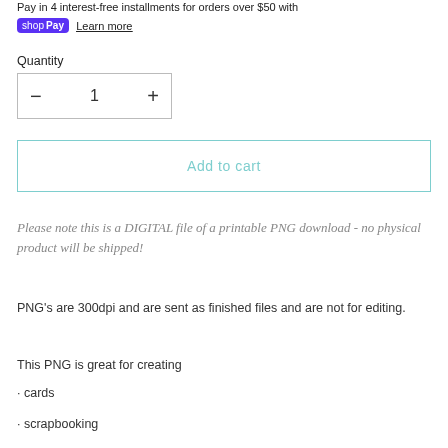Pay in 4 interest-free installments for orders over $50 with shop Pay  Learn more
Quantity
− 1 +
Add to cart
Please note this is a DIGITAL file of a printable PNG download - no physical product will be shipped!
PNG's are 300dpi and are sent as finished files and are not for editing.
This PNG is great for creating
• cards
• scrapbooking